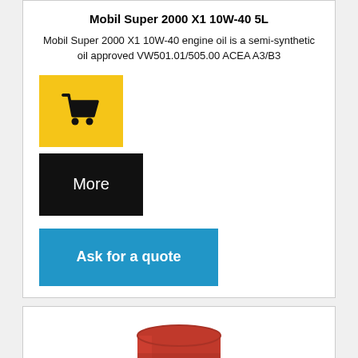Mobil Super 2000 X1 10W-40 5L
Mobil Super 2000 X1 10W-40 engine oil is a semi-synthetic oil approved VW501.01/505.00 ACEA A3/B3
[Figure (illustration): Yellow shopping cart button icon (black cart on yellow background)]
[Figure (illustration): Black button labeled 'More' in white text]
[Figure (illustration): Blue button labeled 'Ask for a quote' in white bold text]
[Figure (illustration): Red Mobil oil drum labeled '60L' with Mobil branding (blue 'Mobil' text with red dot on 'i')]